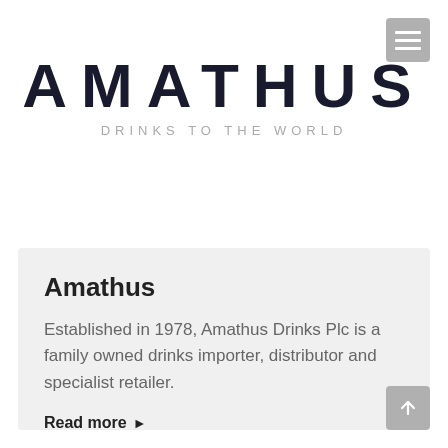[Figure (logo): Amathus Drinks to the World logo — large bold spaced uppercase AMATHUS with tagline DRINKS TO THE WORLD below]
Amathus
Established in 1978, Amathus Drinks Plc is a family owned drinks importer, distributor and specialist retailer.
Read more ▸